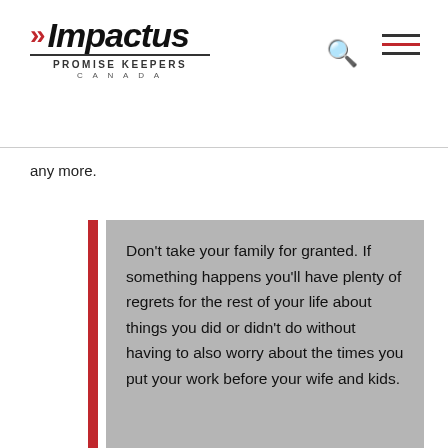Impactus Promise Keepers Canada
any more.
Don’t take your family for granted. If something happens you’ll have plenty of regrets for the rest of your life about things you did or didn’t do without having to also worry about the times you put your work before your wife and kids.